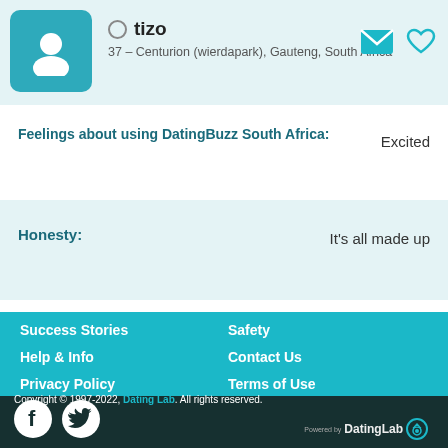tizo – 37 – Centurion (wierdapark), Gauteng, South Africa
Feelings about using DatingBuzz South Africa: Excited
Honesty: It's all made up
Success Stories
Safety
Help & Info
Contact Us
Privacy Policy
Terms of Use
Copyright © 1997-2022, Dating Lab. All rights reserved. Powered by DatingLab